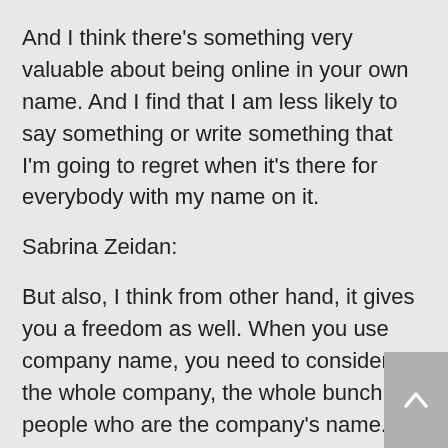And I think there's something very valuable about being online in your own name. And I find that I am less likely to say something or write something that I'm going to regret when it's there for everybody with my name on it.
Sabrina Zeidan:
But also, I think from other hand, it gives you a freedom as well. When you use company name, you need to consider the whole company, the whole bunch of people who are the company's name. But when it's your personal name, you answer for yourself